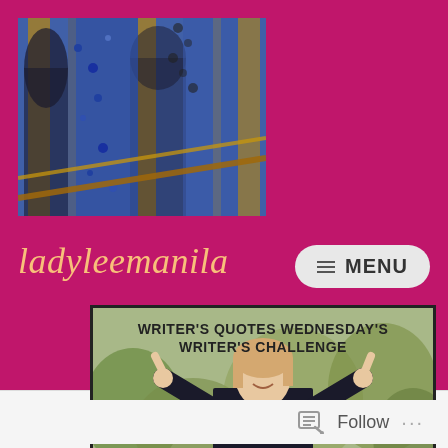[Figure (photo): Blue and gold mosaic/tile architectural detail photo used as blog header image]
ladyleemanila
≡ MENU
[Figure (photo): Article card with text 'WRITER'S QUOTES WEDNESDAY'S WRITER'S CHALLENGE' and a woman with raised fingers standing outdoors]
Follow ...